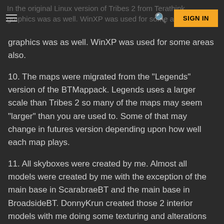In the original Linux version of Tribes 2 from Terathink graphics was as well. WinXP was used for some areas also.
graphics was as well. WinXP was used for some areas also.
10. The maps were migrated from the "Legends" version of the BTMappack. Legends uses a larger scale than Tribes 2 so many of the maps may seem "larger" than you are used to. Some of that may change in futures version depending upon how well each map plays.
11. All skyboxes were created by me. Almost all models were created by me with the exception of the main base in ScarabraeBT and the main base in BroadsideBT. DonnyKrun created those 2 interior models with me doing some texturing and alterations on them. (Thanks DonnyKrun!) All other assets are listed in various credit files contained in the vl2 file.